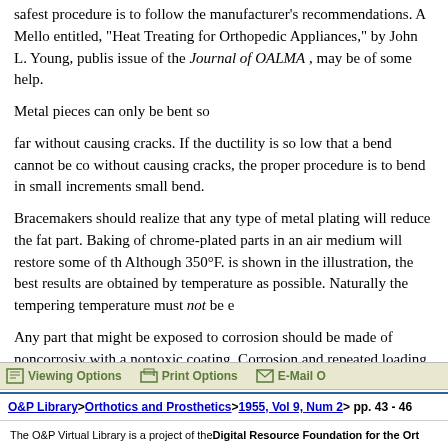safest procedure is to follow the manufacturer's recommendations. A Mellon entitled, "Heat Treating for Orthopedic Appliances," by John L. Young, publis issue of the Journal of OALMA , may be of some help.
Metal pieces can only be bent so
far without causing cracks. If the ductility is so low that a bend cannot be co without causing cracks, the proper procedure is to bend in small increments small bend.
Bracemakers should realize that any type of metal plating will reduce the fat part. Baking of chrome-plated parts in an air medium will restore some of th Although 350°F. is shown in the illustration, the best results are obtained by temperature as possible. Naturally the tempering temperature must not be e
Any part that might be exposed to corrosion should be made of noncorrosiv with a nontoxic coating. Corrosion and repeated loading together form a mo Plating is to be preferred to corrosion.
Since a number of orthopedic parts are exposed to perspiration of the body, probably causes a large percentage of the failures that do occur.
Surface hardening, such as obtained by cyaniding or nitriding, is very benef has been lasting only a month or two can be made to last a year or more.
Viewing Options   Print Options   E-Mail O
O&P Library > Orthotics and Prosthetics > 1955, Vol 9, Num 2 > pp. 43 - 46
The O&P Virtual Library is a project of the Digital Resource Foundation for the Ort